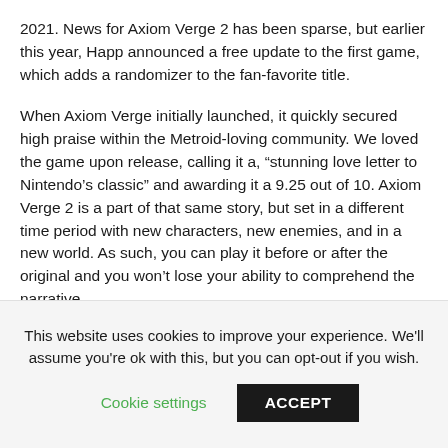2021. News for Axiom Verge 2 has been sparse, but earlier this year, Happ announced a free update to the first game, which adds a randomizer to the fan-favorite title.
When Axiom Verge initially launched, it quickly secured high praise within the Metroid-loving community. We loved the game upon release, calling it a, “stunning love letter to Nintendo’s classic” and awarding it a 9.25 out of 10. Axiom Verge 2 is a part of that same story, but set in a different time period with new characters, new enemies, and in a new world. As such, you can play it before or after the original and you won’t lose your ability to comprehend the narrative.
This website uses cookies to improve your experience. We'll assume you're ok with this, but you can opt-out if you wish.
Cookie settings
ACCEPT